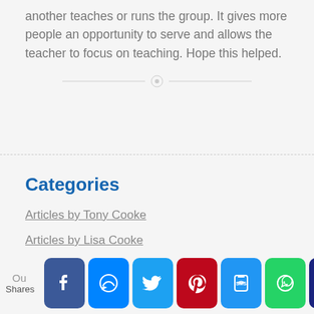another teaches or runs the group. It gives more people an opportunity to serve and allows the teacher to focus on teaching. Hope this helped.
Categories
Articles by Tony Cooke
Articles by Lisa Cooke
Shares Ou [social sharing buttons: Facebook, Messenger, Twitter, Pinterest, SMS, WhatsApp, Crown]